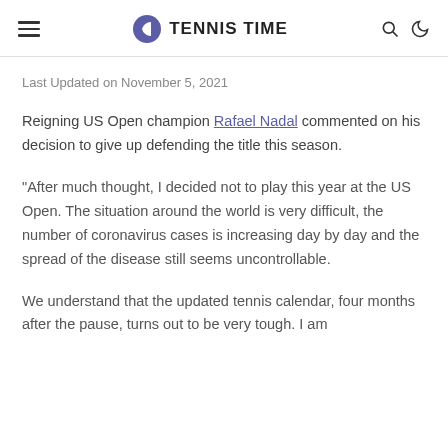TENNIS TIME
Last Updated on November 5, 2021
Reigning US Open champion Rafael Nadal commented on his decision to give up defending the title this season.
"After much thought, I decided not to play this year at the US Open. The situation around the world is very difficult, the number of coronavirus cases is increasing day by day and the spread of the disease still seems uncontrollable.
We understand that the updated tennis calendar, four months after the pause, turns out to be very tough. I am